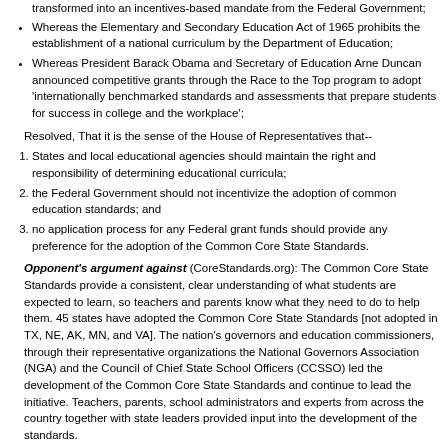transformed into an incentives-based mandate from the Federal Government;
Whereas the Elementary and Secondary Education Act of 1965 prohibits the establishment of a national curriculum by the Department of Education;
Whereas President Barack Obama and Secretary of Education Arne Duncan announced competitive grants through the Race to the Top program to adopt 'internationally benchmarked standards and assessments that prepare students for success in college and the workplace';
Resolved, That it is the sense of the House of Representatives that--
States and local educational agencies should maintain the right and responsibility of determining educational curricula;
the Federal Government should not incentivize the adoption of common education standards; and
no application process for any Federal grant funds should provide any preference for the adoption of the Common Core State Standards.
Opponent's argument against (CoreStandards.org): The Common Core State Standards provide a consistent, clear understanding of what students are expected to learn, so teachers and parents know what they need to do to help them. 45 states have adopted the Common Core State Standards [not adopted in TX, NE, AK, MN, and VA]. The nation's governors and education commissioners, through their representative organizations the National Governors Association (NGA) and the Council of Chief State School Officers (CCSSO) led the development of the Common Core State Standards and continue to lead the initiative. Teachers, parents, school administrators and experts from across the country together with state leaders provided input into the development of the standards.
Source: HRes.476 & SRes.345 14-SR345 on Feb 6, 2014
Brief description of Common Core standards: